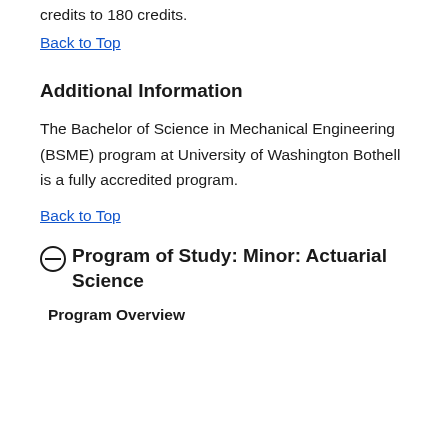credits to 180 credits.
Back to Top
Additional Information
The Bachelor of Science in Mechanical Engineering (BSME) program at University of Washington Bothell is a fully accredited program.
Back to Top
⊖ Program of Study: Minor: Actuarial Science
Program Overview